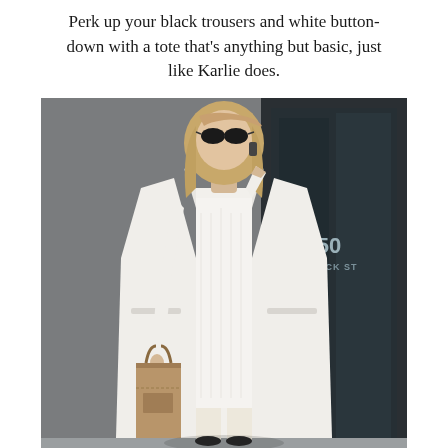Perk up your black trousers and white button-down with a tote that's anything but basic, just like Karlie does.
[Figure (photo): Street style photo of a tall blonde woman (Karlie Kloss) wearing a long white coat, white cable-knit sweater, and cream trousers, holding a tan tote bag and talking on a phone, standing in front of a building with '50 VARICK ST' signage visible in the background.]